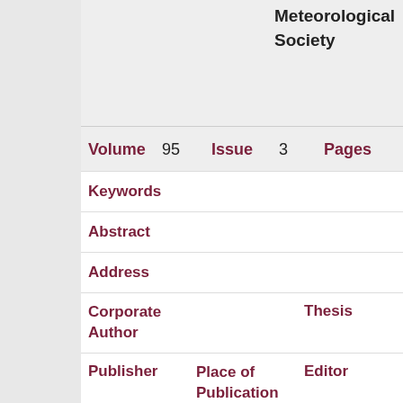|  |  | Meteorological Society |  |  |
| --- | --- | --- | --- | --- |
| Volume | 95 | Issue | 3 | Pages |
| Keywords |  |  |  |  |
| Abstract |  |  |  |  |
| Address |  |  |  |  |
| Corporate Author |  |  |  | Thesis |
| Publisher |  | Place of Publication |  | Editor |
| Language |  | Summary Language |  | Original Title |
| Series Editor |  | Series Title |  | Abbreviated Series Title |